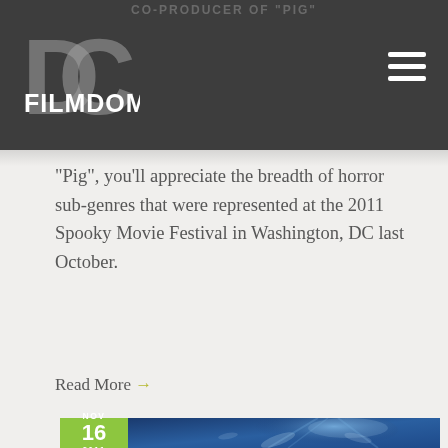CO-PRODUCER OF "PIG"
[Figure (logo): DC Filmdom logo — large stylized DC letters in grey with FILMDOM text in white bold]
“Pig”, you’ll appreciate the breadth of horror sub-genres that were represented at the 2011 Spooky Movie Festival in Washington, DC last October.
Read More →
[Figure (photo): Blue-toned underwater or sci-fi scene with glowing light rays and abstract shapes]
NOV 16 2011